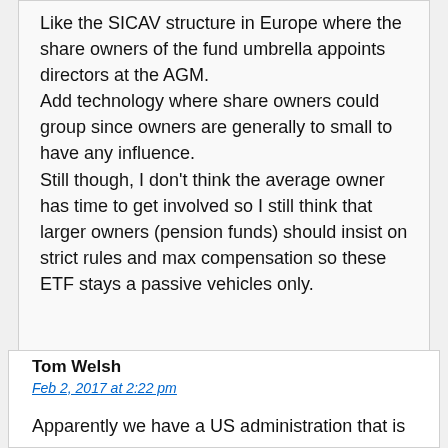Like the SICAV structure in Europe where the share owners of the fund umbrella appoints directors at the AGM.
Add technology where share owners could group since owners are generally to small to have any influence.
Still though, I don't think the average owner has time to get involved so I still think that larger owners (pension funds) should insist on strict rules and max compensation so these ETF stays a passive vehicles only.
Tom Welsh
Feb 2, 2017 at 2:22 pm
Apparently we have a US administration that is